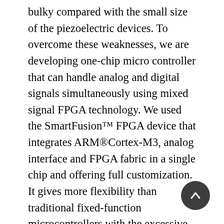bulky compared with the small size of the piezoelectric devices. To overcome these weaknesses, we are developing one-chip micro controller that can handle analog and digital signals simultaneously using mixed signal FPGA technology. We used the SmartFusion™ FPGA device that integrates ARM®Cortex-M3, analog interface and FPGA fabric in a single chip and offering full customization. It gives more flexibility than traditional fixed-function microcontrollers with the excessive cost of soft processor cores on traditional FPGAs. In this paper we introduce the design of single chip controller using mixed signal FPGA, SmartFusion™[1] device. To demonstrate its performance, we implemented a PI controller for power driving circuit and a 5th order H-infinity controller for the system with piezoelectric actuator on the FPGA fabric. We also demonstrated the regulation